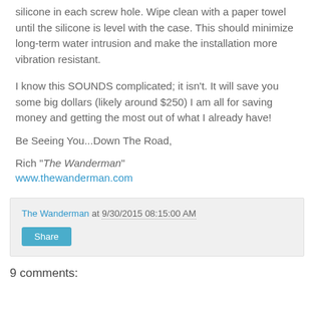silicone in each screw hole. Wipe clean with a paper towel until the silicone is level with the case. This should minimize long-term water intrusion and make the installation more vibration resistant.
I know this SOUNDS complicated; it isn't. It will save you some big dollars (likely around $250) I am all for saving money and getting the most out of what I already have!
Be Seeing You...Down The Road,
Rich "The Wanderman"
www.thewanderman.com
The Wanderman at 9/30/2015 08:15:00 AM
Share
9 comments: